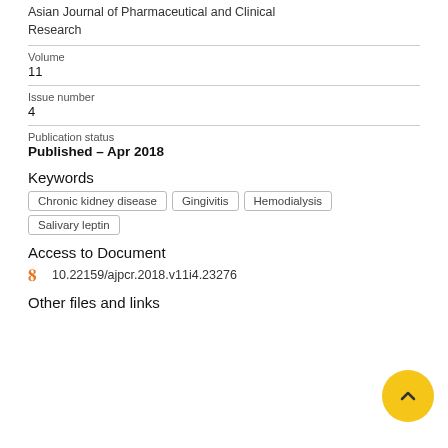Asian Journal of Pharmaceutical and Clinical Research
Volume
11
Issue number
4
Publication status
Published – Apr 2018
Keywords
Chronic kidney disease
Gingivitis
Hemodialysis
Salivary leptin
Access to Document
10.22159/ajpcr.2018.v11i4.23276
Other files and links